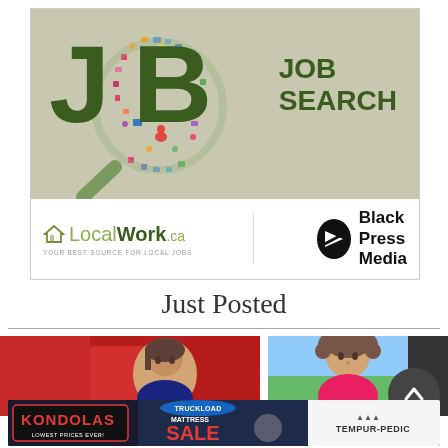[Figure (advertisement): JOB SEARCH advertisement featuring large green JOB letters with magnifying glass made of colorful social media icons, plus LocalWork.ca and Black Press Media logos at bottom]
Just Posted
[Figure (photo): Two photo strips showing people - left shows a man in front of red vehicle, right shows a person outdoors]
[Figure (advertisement): Kondolas Truckload Mattress Sale advertisement featuring Tempur-Pedic brand]